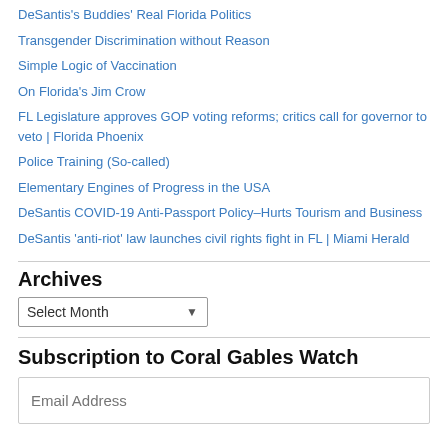DeSantis's Buddies' Real Florida Politics
Transgender Discrimination without Reason
Simple Logic of Vaccination
On Florida's Jim Crow
FL Legislature approves GOP voting reforms; critics call for governor to veto | Florida Phoenix
Police Training (So-called)
Elementary Engines of Progress in the USA
DeSantis COVID-19 Anti-Passport Policy–Hurts Tourism and Business
DeSantis 'anti-riot' law launches civil rights fight in FL | Miami Herald
Archives
Subscription to Coral Gables Watch